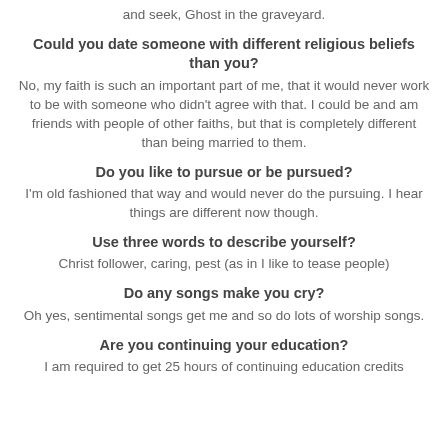and seek, Ghost in the graveyard.
Could you date someone with different religious beliefs than you?
No, my faith is such an important part of me, that it would never work to be with someone who didn't agree with that. I could be and am friends with people of other faiths, but that is completely different than being married to them.
Do you like to pursue or be pursued?
I'm old fashioned that way and would never do the pursuing. I hear things are different now though.
Use three words to describe yourself?
Christ follower, caring, pest (as in I like to tease people)
Do any songs make you cry?
Oh yes, sentimental songs get me and so do lots of worship songs.
Are you continuing your education?
I am required to get 25 hours of continuing education credits